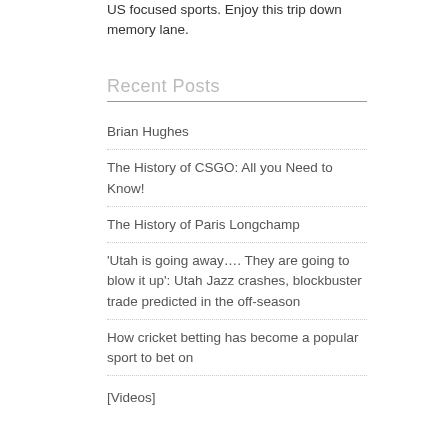US focused sports. Enjoy this trip down memory lane.
Recent Posts
Brian Hughes
The History of CSGO: All you Need to Know!
The History of Paris Longchamp
'Utah is going away.... They are going to blow it up': Utah Jazz crashes, blockbuster trade predicted in the off-season
How cricket betting has become a popular sport to bet on
[Videos]